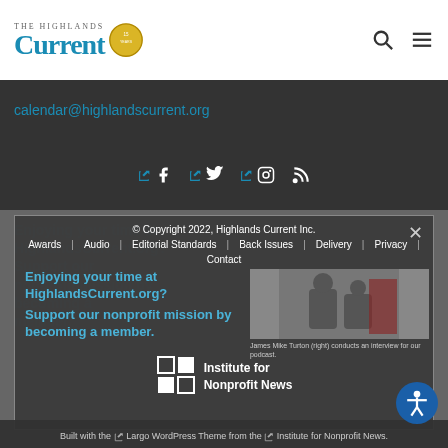The Highlands Current
calendar@highlandscurrent.org
[Figure (infographic): Social media icons: Facebook, Twitter, Instagram, RSS feed links]
© Copyright 2022, Highlands Current Inc.
Awards | Audio | Editorial Standards | Back Issues | Delivery | Privacy | Contact
Enjoying your time at HighlandsCurrent.org? Support our nonprofit mission by becoming a member.
[Figure (photo): Photo of podcast interview with Mike Turton]
James Mike Turton (right) conducts an interview for our podcast.
[Figure (logo): Institute for Nonprofit News logo with grid squares]
Built with the Largo WordPress Theme from the Institute for Nonprofit News.